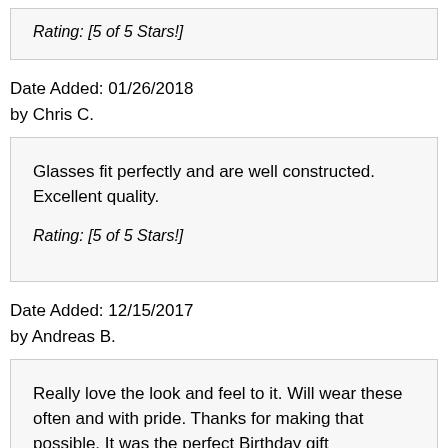Rating: [5 of 5 Stars!]
Date Added: 01/26/2018
by Chris C.
Glasses fit perfectly and are well constructed. Excellent quality.

Rating: [5 of 5 Stars!]
Date Added: 12/15/2017
by Andreas B.
Really love the look and feel to it. Will wear these often and with pride. Thanks for making that possible. It was the perfect Birthday gift